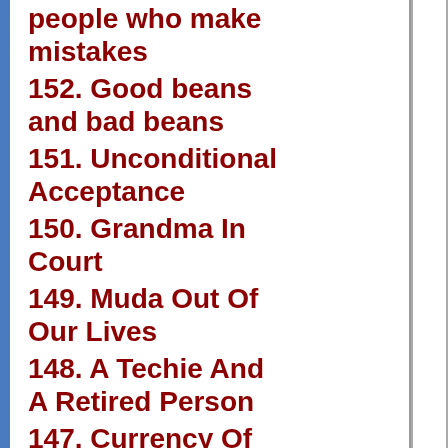people who make mistakes
152. Good beans and bad beans
151. Unconditional Acceptance
150. Grandma In Court
149. Muda Out Of Our Lives
148. A Techie And A Retired Person
147. Currency Of The Heaven World
146. Never Forget Your Friends
145. A German Shepherd And A Panther
144. Stay Together
143. We'll Find Your Jeep
142. Art Of